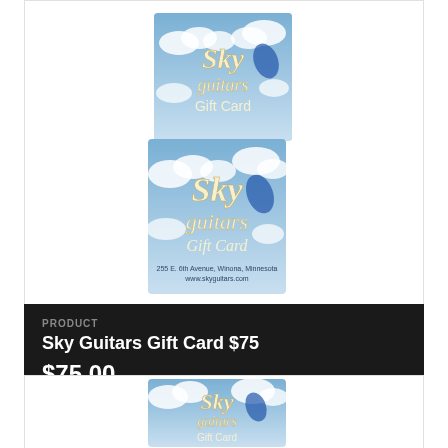[Figure (photo): Two Sky Guitars Gift Card cards stacked/overlapping, showing blue sky with clouds background, with 'Sky guitars Gift Card' text on each card]
PRODUCT
Sky Guitars Gift Card $75
$75.00
[Figure (photo): Single Sky Guitars Gift Card showing blue sky with clouds background and 'Sky guitars Gift Card' text]